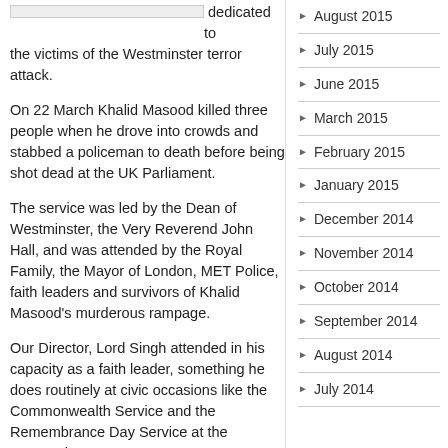dedicated to the victims of the Westminster terror attack.
On 22 March Khalid Masood killed three people when he drove into crowds and stabbed a policeman to death before being shot dead at the UK Parliament.
The service was led by the Dean of Westminster, the Very Reverend John Hall, and was attended by the Royal Family, the Mayor of London, MET Police, faith leaders and survivors of Khalid Masood's murderous rampage.
Our Director, Lord Singh attended in his capacity as a faith leader, something he does routinely at civic occasions like the Commonwealth Service and the Remembrance Day Service at the Cenotaph.
August 2015
July 2015
June 2015
March 2015
February 2015
January 2015
December 2014
November 2014
October 2014
September 2014
August 2014
July 2014